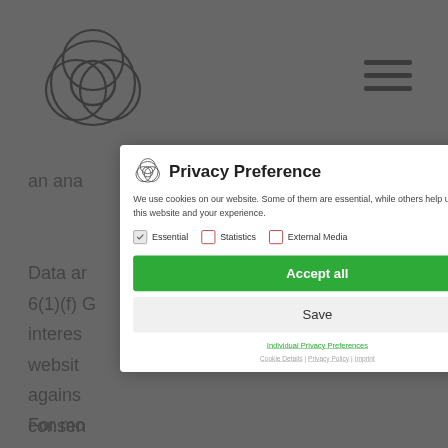[Figure (screenshot): Website background with logo (overlapping circles/rings icon) top left, hamburger menu icon top right, and partial grey text content visible behind the modal overlay.]
Privacy Preference
We use cookies on our website. Some of them are essential, while others help us to improve this website and your experience.
Essential   Statistics   External Media
Accept all
Save
Individual Privacy Preferences
Cookie Details | Privacy Policy | Imprint